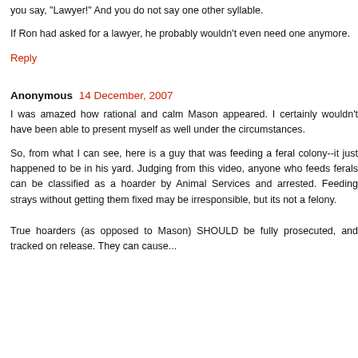you say, "Lawyer!" And you do not say one other syllable.
If Ron had asked for a lawyer, he probably wouldn't even need one anymore.
Reply
Anonymous  14 December, 2007
I was amazed how rational and calm Mason appeared. I certainly wouldn't have been able to present myself as well under the circumstances.
So, from what I can see, here is a guy that was feeding a feral colony--it just happened to be in his yard. Judging from this video, anyone who feeds ferals can be classified as a hoarder by Animal Services and arrested. Feeding strays without getting them fixed may be irresponsible, but its not a felony.
True hoarders (as opposed to Mason) SHOULD be fully prosecuted, and tracked on release. They can cause...